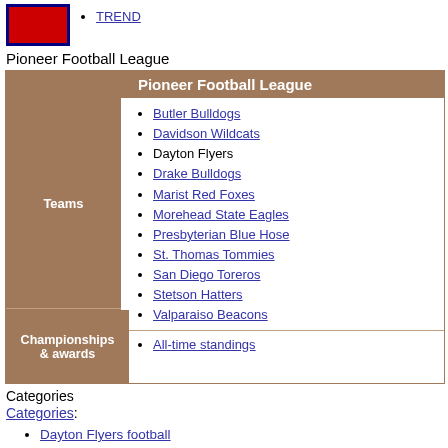[Figure (logo): Red and dark blue rectangular logo/image]
TREND
Pioneer Football League
|  | Pioneer Football League |
| --- | --- |
| Teams | Butler Bulldogs
Davidson Wildcats
Dayton Flyers
Drake Bulldogs
Marist Red Foxes
Morehead State Eagles
Presbyterian Blue Hose
St. Thomas Tommies
San Diego Toreros
Stetson Hatters
Valparaiso Beacons |
| Championships & awards | All-time standings |
Categories
Categories:
Dayton Flyers football
American football teams established in 1905
1905 establishments in Ohio